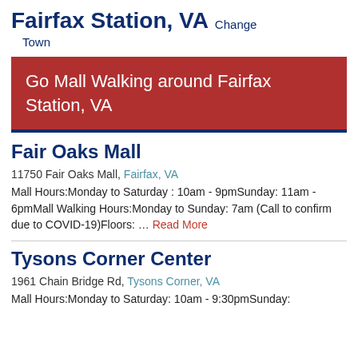Fairfax Station, VA Change Town
Go Mall Walking around Fairfax Station, VA
Fair Oaks Mall
11750 Fair Oaks Mall, Fairfax, VA
Mall Hours:Monday to Saturday : 10am - 9pmSunday: 11am - 6pmMall Walking Hours:Monday to Sunday: 7am (Call to confirm due to COVID-19)Floors: … Read More
Tysons Corner Center
1961 Chain Bridge Rd, Tysons Corner, VA
Mall Hours:Monday to Saturday: 10am - 9:30pmSunday: